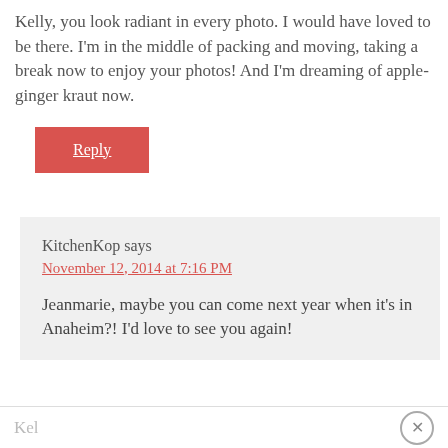Kelly, you look radiant in every photo. I would have loved to be there. I'm in the middle of packing and moving, taking a break now to enjoy your photos! And I'm dreaming of apple-ginger kraut now.
Reply
KitchenKop says
November 12, 2014 at 7:16 PM
Jeanmarie, maybe you can come next year when it's in Anaheim?! I'd love to see you again!
Kel